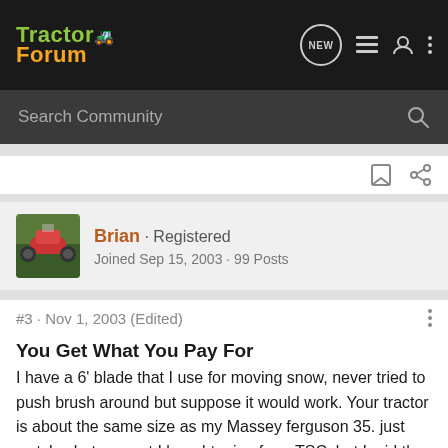TractorForum
Search Community
Brian · Registered
Joined Sep 15, 2003 · 99 Posts
#3 · Nov 1, 2003 (Edited)
You Get What You Pay For
I have a 6' blade that I use for moving snow, never tried to push brush around but suppose it would work. Your tractor is about the same size as my Massey ferguson 35. just watch what you get I bought mine from TSC, but Ipaid the extra for the Heavy duty blade, if I remeber correctly I gave about $450.00 for it, the mold board is 5/16"steel and the blade is reversible and